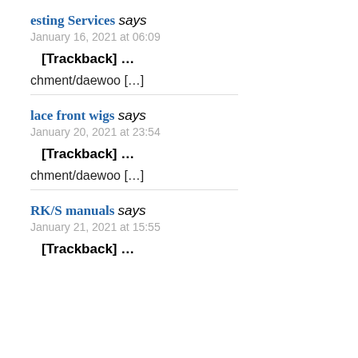esting Services says
January 16, 2021 at 06:09
[Trackback] …
chment/daewoo […]
lace front wigs says
January 20, 2021 at 23:54
[Trackback] …
chment/daewoo […]
RK/S manuals says
January 21, 2021 at 15:55
[Trackback] …